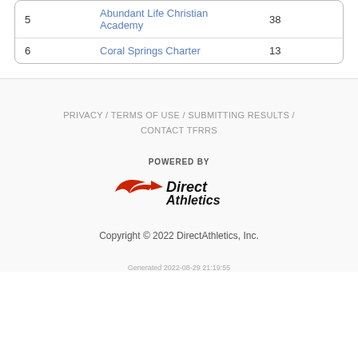|  |  |  |
| --- | --- | --- |
| 5 | Abundant Life Christian Academy | 38 |
| 6 | Coral Springs Charter | 13 |
PRIVACY / TERMS OF USE / SUBMITTING RESULTS / CONTACT TFRRS
POWERED BY Direct Athletics
Copyright © 2022 DirectAthletics, Inc.
Generated 2022-08-29 21:19:55